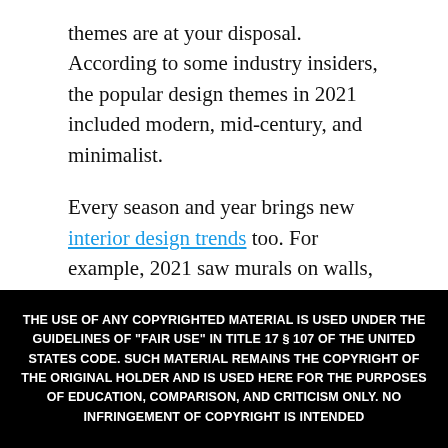themes are at your disposal. According to some industry insiders, the popular design themes in 2021 included modern, mid-century, and minimalist.
Every season and year brings new interior design trends too. For example, 2021 saw murals on walls, painting with a primary palette, minimalism, and sculptural furniture.
However, it's up to you how you want to decorate
THE USE OF ANY COPYRIGHTED MATERIAL IS USED UNDER THE GUIDELINES OF "FAIR USE" IN TITLE 17 § 107 OF THE UNITED STATES CODE. SUCH MATERIAL REMAINS THE COPYRIGHT OF THE ORIGINAL HOLDER AND IS USED HERE FOR THE PURPOSES OF EDUCATION, COMPARISON, AND CRITICISM ONLY. NO INFRINGEMENT OF COPYRIGHT IS INTENDED